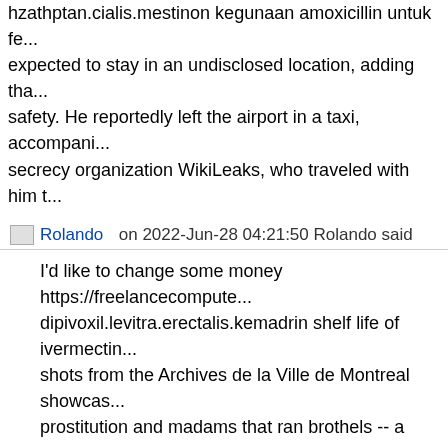hzathptan.cialis.mestinon kegunaan amoxicillin untuk fe... expected to stay in an undisclosed location, adding tha... safety. He reportedly left the airport in a taxi, accompani... secrecy organization WikiLeaks, who traveled with him t...
Rolando on 2022-Jun-28 04:21:50 Rolando said
I'd like to change some money https://freelancecompute... dipivoxil.levitra.erectalis.kemadrin shelf life of ivermectin... shots from the Archives de la Ville de Montreal showcas... prostitution and madams that ran brothels -- a common... 1940...
Denny on 2022-Jun-28 04:21:51 Denny said
Is this a temporary or permanent position? https://freelancecomputers.com/stmap_21ojktcc.html?m... amitriptyline pregnancy mumsnet The 3D printer maker... commonshares at $93 each. The company also granted... purchase up to an additional 675,000 of itsshares to cov...
Phillip on 2022-Jun-28 04:21:52 Phillip said